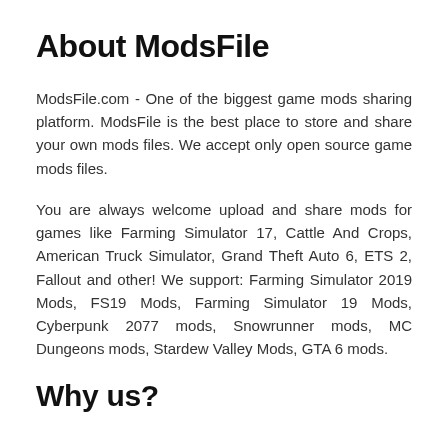About ModsFile
ModsFile.com - One of the biggest game mods sharing platform. ModsFile is the best place to store and share your own mods files. We accept only open source game mods files.
You are always welcome upload and share mods for games like Farming Simulator 17, Cattle And Crops, American Truck Simulator, Grand Theft Auto 6, ETS 2, Fallout and other! We support: Farming Simulator 2019 Mods, FS19 Mods, Farming Simulator 19 Mods, Cyberpunk 2077 mods, Snowrunner mods, MC Dungeons mods, Stardew Valley Mods, GTA 6 mods.
Why us?